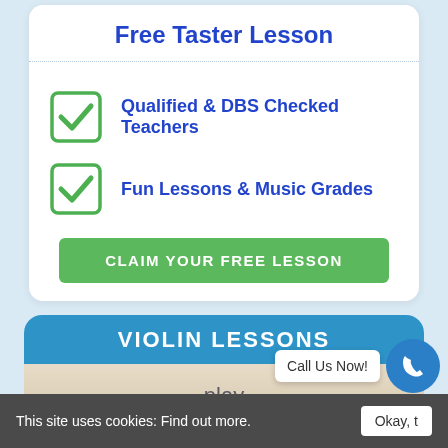Free Taster Lesson
Qualified & DBS Checked Teachers
Fun Lessons & Music Grades
CLAIM YOUR FREE LESSON
VIOLIN LESSONS
[Figure (screenshot): Play violin text over a scenic background image]
This site uses cookies: Find out more.
Call Us Now!
Okay, t…